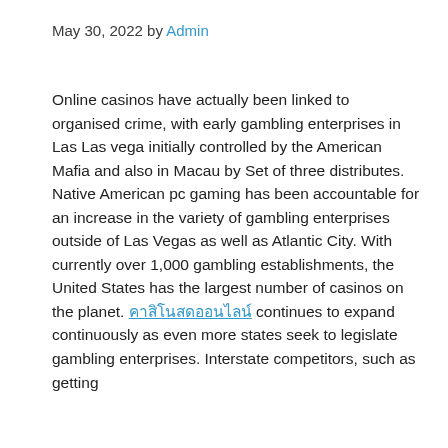May 30, 2022 by Admin
Online casinos have actually been linked to organised crime, with early gambling enterprises in Las Las vega initially controlled by the American Mafia and also in Macau by Set of three distributes. Native American pc gaming has been accountable for an increase in the variety of gambling enterprises outside of Las Vegas as well as Atlantic City. With currently over 1,000 gambling establishments, the United States has the largest number of casinos on the planet. คาสิโนสดออนไลน์ continues to expand continuously as even more states seek to legislate gambling enterprises. Interstate competitors, such as getting